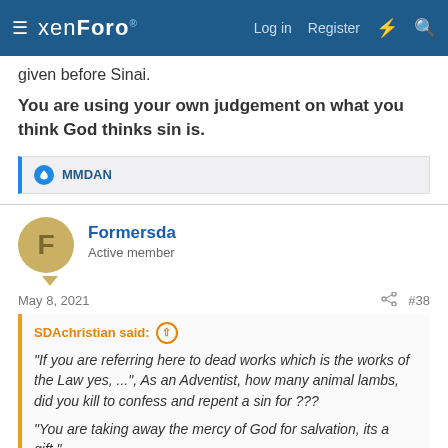xenForo  Log in  Register
given before Sinai.
You are using your own judgement on what you think God thinks sin is.
MMDAN
[Figure (screenshot): User avatar for Formersda, a circular gold/tan avatar with letter F]
Formersda
Active member
May 8, 2021  #38
SDAchristian said: ↑
"If you are referring here to dead works which is the works of the Law yes, ...", As an Adventist, how many animal lambs, did you kill to confess and repent a sin for ???
"You are taking away the mercy of God for salvation, its a gift.", Should I assume you have evidence for this accusation ???